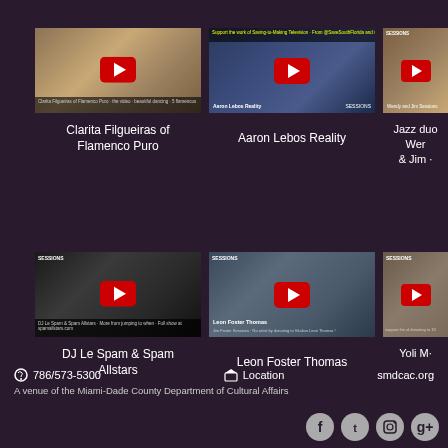[Figure (screenshot): Video thumbnail for Clarita Filgueiras of Flamenco Puro - YouTube video with play button]
[Figure (screenshot): Video thumbnail for Aaron Lebos Reality - YouTube video with play button]
[Figure (screenshot): Video thumbnail for Jazz duo Wendy & Jim - YouTube video with play button (partially visible)]
Clarita Filgueiras of Flamenco Puro
Aaron Lebos Reality
Jazz duo Wendy & Jim (partially visible)
[Figure (screenshot): Video thumbnail for DJ Le Spam & Spam Allstars - YouTube video with play button]
[Figure (screenshot): Video thumbnail for Leon Foster Thomas - YouTube video with play button]
[Figure (screenshot): Video thumbnail for Yoli M - YouTube video with play button (partially visible)]
DJ Le Spam & Spam Allstars
Leon Foster Thomas
Yoli M (partially visible)
786/573-5300   Location   smdcac.org
A venue of the Miami-Dade County Department of Cultural Affairs